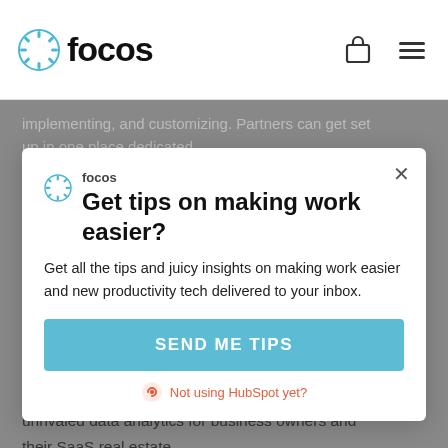focos
implementing, and customizing. Partners can get set up in one place dedicated account managers, sales enablement material, and more.
About Focos
A single place for all of your work apps, social media and email accounts from a desktop app. Focos is streamlined, smooth and a reliable experience. The future of work has changed, more and more of us are working hybrid, Focos is a simple and beautiful solution for managing everything better. Paired with unrivaled data analytics for business owners and their SaaS real estate.
Get tips on making work easier?
Get all the tips and juicy insights on making work easier and new productivity tech delivered to your inbox.
SEND ME TIPS
Not using HubSpot yet?